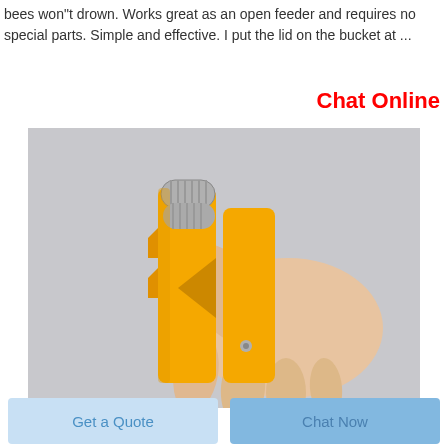bees won"t drown. Works great as an open feeder and requires no special parts. Simple and effective. I put the lid on the bucket at ...
Chat Online
[Figure (photo): A hand holding a yellow plastic tool with two metal cylindrical rollers at the top, resembling a wire stripping or crimping tool.]
Get a Quote
Chat Now